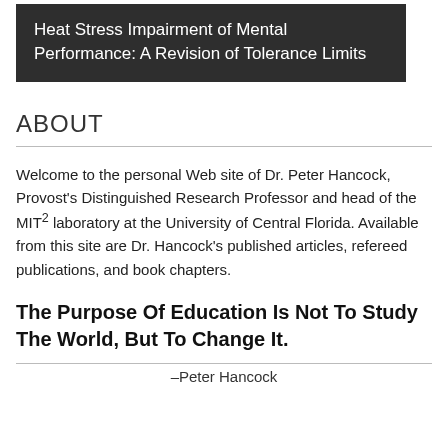Heat Stress Impairment of Mental Performance: A Revision of Tolerance Limits
ABOUT
Welcome to the personal Web site of Dr. Peter Hancock, Provost's Distinguished Research Professor and head of the MIT² laboratory at the University of Central Florida. Available from this site are Dr. Hancock's published articles, refereed publications, and book chapters.
The Purpose Of Education Is Not To Study The World, But To Change It.
–Peter Hancock